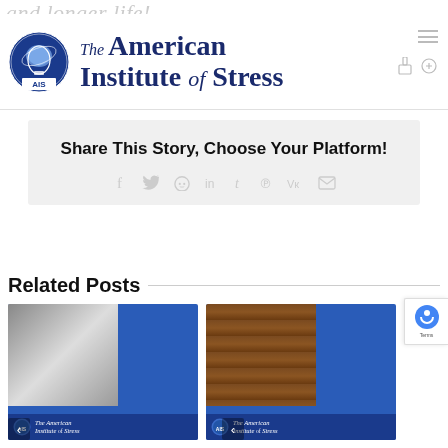The American Institute of Stress
and longer life!
Share This Story, Choose Your Platform!
Related Posts
[Figure (photo): Two related post thumbnail images with American Institute of Stress branding]
[Figure (logo): reCAPTCHA badge]